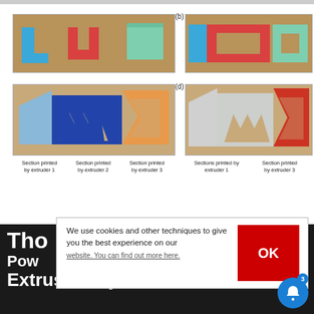[Figure (photo): Photos of 3D printed parts by multiple extruders. Top-left: three separate pieces – blue L-shape, red U-shape, green/teal square block on brown background. Top-right (b): assembled – blue slab, red rectangular frame, green rectangular frame with hole. Bottom-left: three sections of AMD-style logo printed by extruders 1 (light blue), 2 (dark blue), 3 (orange). Bottom-right (d): same logo sections in grey/white (extruder 1) and red (extruder 3).]
Section printed by extruder 1   Section printed by extruder 2   Section printed by extruder 3
Sections printed by extruder 1   Section printed by extruder 3
Tho
Pow
Extrusion System
We use cookies and other techniques to give you the best experience on our website. You can find out more here.